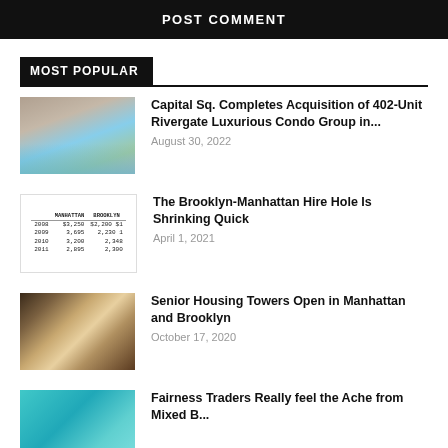POST COMMENT
MOST POPULAR
Capital Sq. Completes Acquisition of 402-Unit Rivergate Luxurious Condo Group in...
August 30, 2022
[Figure (photo): Apartment complex with swimming pool]
The Brooklyn-Manhattan Hire Hole Is Shrinking Quick
April 1, 2021
[Figure (table-as-image): Table showing Manhattan and Brooklyn rental data for years 2008-2011]
Senior Housing Towers Open in Manhattan and Brooklyn
October 17, 2020
[Figure (photo): Luxury hotel or senior housing interior lobby]
Fairness Traders Really feel the Ache from Mixed B...
[Figure (photo): Teal/blue colored image with a seal or emblem]